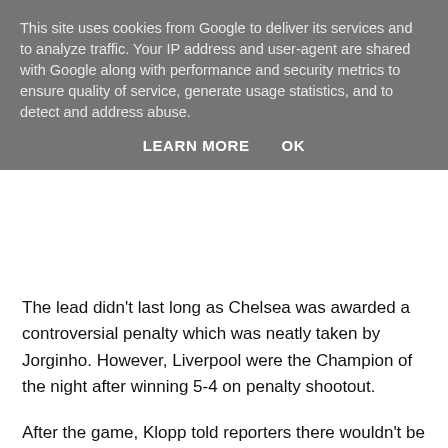This site uses cookies from Google to deliver its services and to analyze traffic. Your IP address and user-agent are shared with Google along with performance and security metrics to ensure quality of service, generate usage statistics, and to detect and address abuse.
LEARN MORE    OK
The lead didn't last long as Chelsea was awarded a controversial penalty which was neatly taken by Jorginho. However, Liverpool were the Champion of the night after winning 5-4 on penalty shootout.
After the game, Klopp told reporters there wouldn't be time to